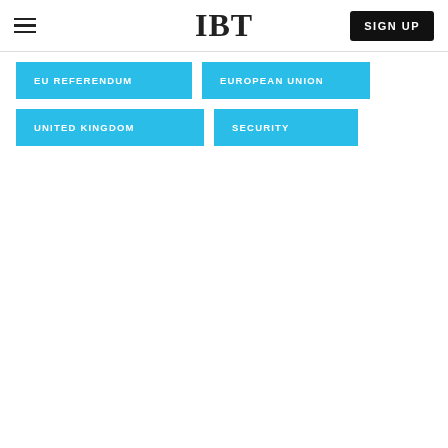IBT | SIGN UP
EU REFERENDUM
EUROPEAN UNION
UNITED KINGDOM
SECURITY